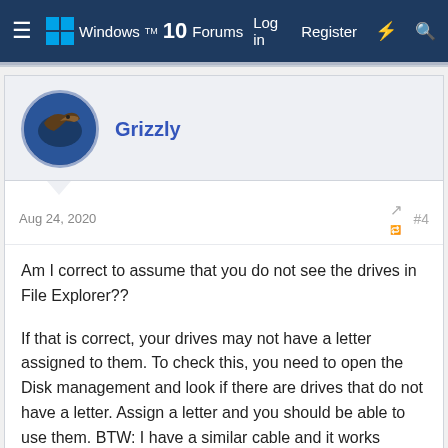Windows 10 Forums — Log in  Register
Grizzly
Aug 24, 2020  #4
Am I correct to assume that you do not see the drives in File Explorer??

If that is correct, your drives may not have a letter assigned to them. To check this, you need to open the Disk management and look if there are drives that do not have a letter. Assign a letter and you should be able to use them. BTW: I have a similar cable and it works perfectly....
Reply
Trouble
Noob Whisperer  Moderator